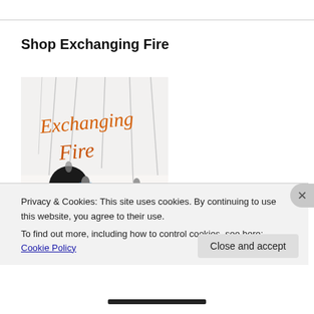Shop Exchanging Fire
[Figure (illustration): Book cover image for 'Exchanging Fire' showing colorful Christmas ornaments with cursive orange text reading 'Exchanging Fire' on a white background]
Privacy & Cookies: This site uses cookies. By continuing to use this website, you agree to their use.
To find out more, including how to control cookies, see here: Cookie Policy
Close and accept